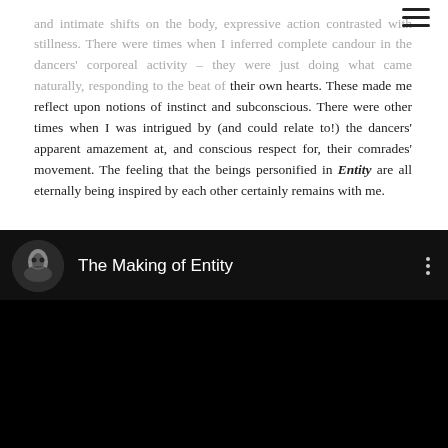and intimate shifts on the body, expressive action contrasted with stillness. There were times when I inferred complete candour in the dancers' corporeal activity – they were just doing what came naturally, responding to the beat of their own hearts. These made me reflect upon notions of instinct and subconscious. There were other times when I was intrigued by (and could relate to!) the dancers' apparent amazement at, and conscious respect for, their comrades' movement. The feeling that the beings personified in Entity are all eternally being inspired by each other certainly remains with me.
[Figure (screenshot): Embedded video player showing 'The Making of Entity' with a circular channel icon featuring a dark alien-like figure, video title text in white on black background, three-dot menu icon, and black video content area below.]